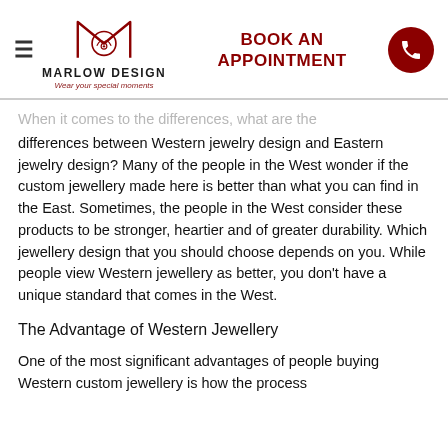Marlow Design — Wear your special moments | BOOK AN APPOINTMENT
When it comes to the differences, what are the differences between Western jewelry design and Eastern jewelry design? Many of the people in the West wonder if the custom jewellery made here is better than what you can find in the East. Sometimes, the people in the West consider these products to be stronger, heartier and of greater durability. Which jewellery design that you should choose depends on you. While people view Western jewellery as better, you don't have a unique standard that comes in the West.
The Advantage of Western Jewellery
One of the most significant advantages of people buying Western custom jewellery is how the process